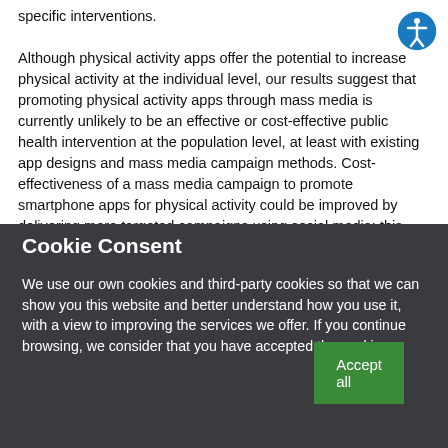specific interventions.

Although physical activity apps offer the potential to increase physical activity at the individual level, our results suggest that promoting physical activity apps through mass media is currently unlikely to be an effective or cost-effective public health intervention at the population level, at least with existing app designs and mass media campaign methods. Cost-effectiveness of a mass media campaign to promote smartphone apps for physical activity could be improved by delivering more targeted campaigns using social media; this may deliver health gains at lower cost than the
Cookie Consent
We use our own cookies and third-party cookies so that we can show you this website and better understand how you use it, with a view to improving the services we offer. If you continue browsing, we consider that you have accepted the cookies.